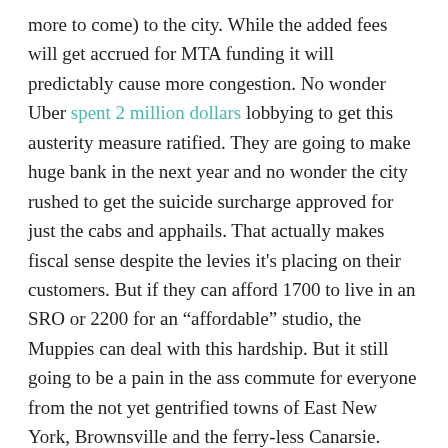more to come) to the city. While the added fees will get accrued for MTA funding it will predictably cause more congestion. No wonder Uber spent 2 million dollars lobbying to get this austerity measure ratified. They are going to make huge bank in the next year and no wonder the city rushed to get the suicide surcharge approved for just the cabs and apphails. That actually makes fiscal sense despite the levies it's placing on their customers. But if they can afford 1700 to live in an SRO or 2200 for an “affordable” studio, the Muppies can deal with this hardship. But it still going to be a pain in the ass commute for everyone from the not yet gentrified towns of East New York, Brownsville and the ferry-less Canarsie.
As for the Canarsie Tunnel, that also is an austerity